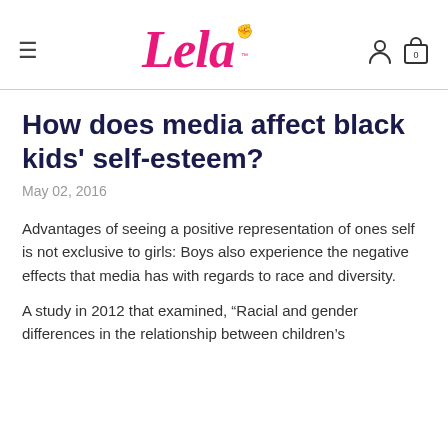Lela
How does media affect black kids' self-esteem?
May 02, 2016
Advantages of seeing a positive representation of ones self is not exclusive to girls: Boys also experience the negative effects that media has with regards to race and diversity.
A study in 2012 that examined, “Racial and gender differences in the relationship between children’s television exposure, self-esteem, and body image” has noted that